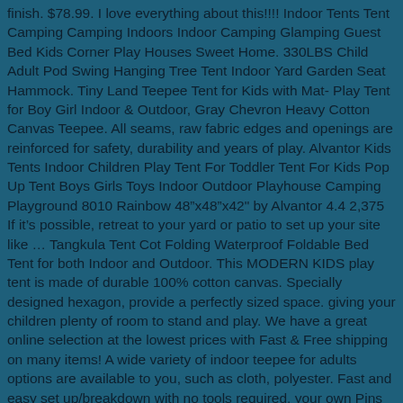finish. $78.99. I love everything about this!!!! Indoor Tents Tent Camping Camping Indoors Indoor Camping Glamping Guest Bed Kids Corner Play Houses Sweet Home. 330LBS Child Adult Pod Swing Hanging Tree Tent Indoor Yard Garden Seat Hammock. Tiny Land Teepee Tent for Kids with Mat- Play Tent for Boy Girl Indoor & Outdoor, Gray Chevron Heavy Cotton Canvas Teepee. All seams, raw fabric edges and openings are reinforced for safety, durability and years of play. Alvantor Kids Tents Indoor Children Play Tent For Toddler Tent For Kids Pop Up Tent Boys Girls Toys Indoor Outdoor Playhouse Camping Playground 8010 Rainbow 48”x48”x42" by Alvantor 4.4 2,375 If it’s possible, retreat to your yard or patio to set up your site like … Tangkula Tent Cot Folding Waterproof Foldable Bed Tent for both Indoor and Outdoor. This MODERN KIDS play tent is made of durable 100% cotton canvas. Specially designed hexagon, provide a perfectly sized space. giving your children plenty of room to stand and play. We have a great online selection at the lowest prices with Fast & Free shipping on many items! A wide variety of indoor teepee for adults options are available to you, such as cloth, polyester. Fast and easy set up/breakdown with no tools required. your own Pins on Pinterest Making Temporary Tents Create a classic fort-tent. These Play Teepee Kid with Carrying Bag are made of 100% natural, non-toxic, unpainted cotton canvas. 2019-12-16 13:21:04. Crafted with a wooden pole frame, this piece strikes a pyramid silhouette with polyester fabric hanging from all sides for an approachable